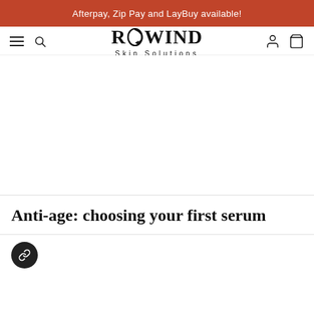Afterpay, Zip Pay and LayBuy available!
[Figure (logo): REWIND Skin Solutions logo with circular arrow integrated into the letter O, with tagline 'Skin Solutions' below]
Anti-age: choosing your first serum